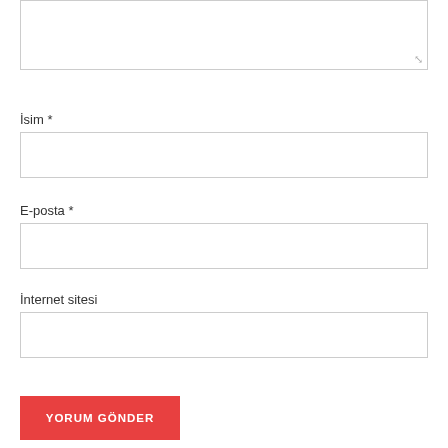[Figure (screenshot): Text area input box (comment field) at the top of the form, partially visible with resize handle at bottom right.]
İsim *
[Figure (screenshot): Text input field for İsim (Name), empty, with border.]
E-posta *
[Figure (screenshot): Text input field for E-posta (Email), empty, with border.]
İnternet sitesi
[Figure (screenshot): Text input field for İnternet sitesi (Website), empty, with border.]
YORUM GÖNDER